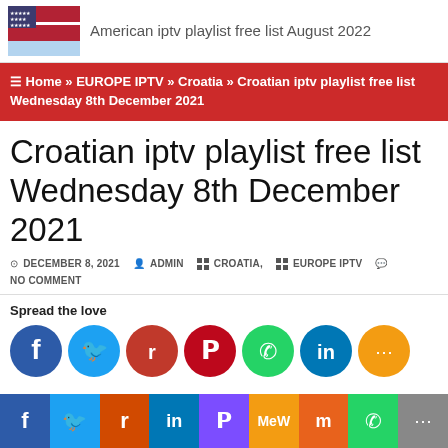American iptv playlist free list August 2022
≡ Home » EUROPE IPTV » Croatia » Croatian iptv playlist free list Wednesday 8th December 2021
Croatian iptv playlist free list Wednesday 8th December 2021
DECEMBER 8, 2021  ADMIN  CROATIA,  EUROPE IPTV  NO COMMENT
Spread the love
[Figure (infographic): Social share buttons: Facebook, Twitter, Reddit, Pinterest, WhatsApp, LinkedIn, More]
[Figure (infographic): Bottom share bar: Facebook, Twitter, Reddit, LinkedIn, Pinterest, MeWe, Mix, WhatsApp, More]